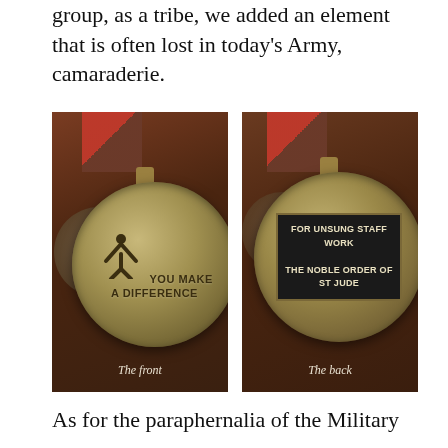group, as a tribe, we added an element that is often lost in today's Army, camaraderie.
[Figure (photo): Photo of a medal (front side) with a red and brown ribbon. The bronze/gold medal shows a figure with arms raised and the text 'YOU MAKE A DIFFERENCE'. Caption reads 'The front'.]
[Figure (photo): Photo of a medal (back side) with a red and brown ribbon. The medal shows a dark plaque reading 'FOR UNSUNG STAFF WORK THE NOBLE ORDER OF ST JUDE'. Caption reads 'The back'.]
As for the paraphernalia of the Military